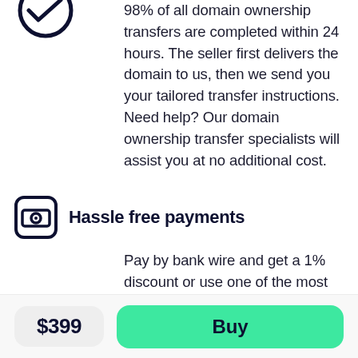98% of all domain ownership transfers are completed within 24 hours. The seller first delivers the domain to us, then we send you your tailored transfer instructions. Need help? Our domain ownership transfer specialists will assist you at no additional cost.
Hassle free payments
Pay by bank wire and get a 1% discount or use one of the most popular payment options available through our payment processor, Adyen. Adyen is the payment platform of choice for many leading tech
$399
Buy